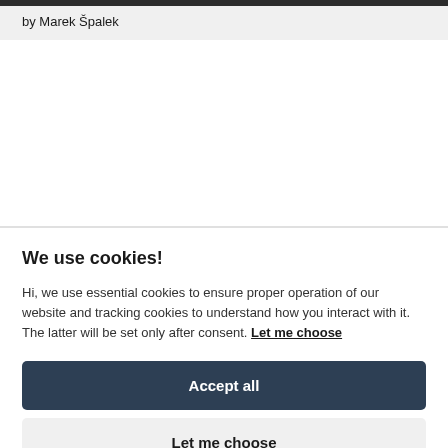by Marek Špalek
We use cookies!
Hi, we use essential cookies to ensure proper operation of our website and tracking cookies to understand how you interact with it. The latter will be set only after consent. Let me choose
Accept all
Let me choose